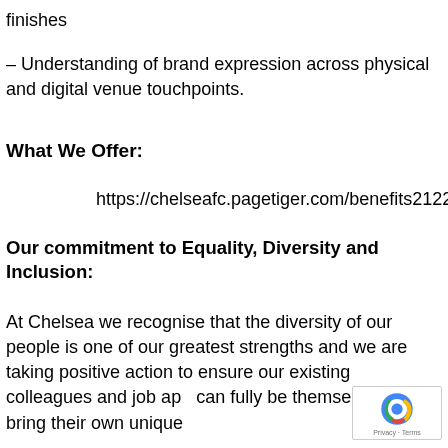finishes
– Understanding of brand expression across physical and digital venue touchpoints.
What We Offer:
https://chelseafc.pagetiger.com/benefits2122/1
Our commitment to Equality, Diversity and Inclusion:
At Chelsea we recognise that the diversity of our people is one of our greatest strengths and we are taking positive action to ensure our existing colleagues and job app can fully be themselves and bring their own unique